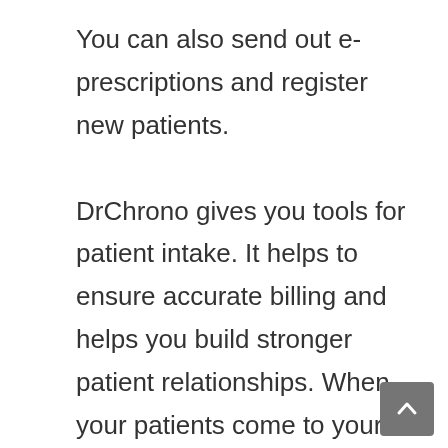You can also send out e-prescriptions and register new patients.

DrChrono gives you tools for patient intake. It helps to ensure accurate billing and helps you build stronger patient relationships. When your patients come to your office, they need to know that you remember them. They don’t want to fill the same forms out repeatedly. DrChrono’s tools ensure that connect in a real way.